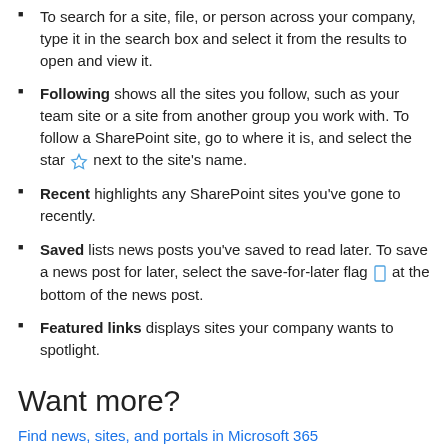To search for a site, file, or person across your company, type it in the search box and select it from the results to open and view it.
Following shows all the sites you follow, such as your team site or a site from another group you work with. To follow a SharePoint site, go to where it is, and select the star [star icon] next to the site's name.
Recent highlights any SharePoint sites you've gone to recently.
Saved lists news posts you've saved to read later. To save a news post for later, select the save-for-later flag [flag icon] at the bottom of the news post.
Featured links displays sites your company wants to spotlight.
Want more?
Find news, sites, and portals in Microsoft 365